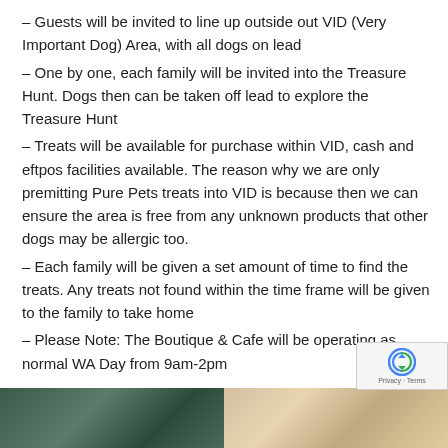– Guests will be invited to line up outside out VID (Very Important Dog) Area, with all dogs on lead
– One by one, each family will be invited into the Treasure Hunt. Dogs then can be taken off lead to explore the Treasure Hunt
– Treats will be available for purchase within VID, cash and eftpos facilities available. The reason why we are only premitting Pure Pets treats into VID is because then we can ensure the area is free from any unknown products that other dogs may be allergic too.
– Each family will be given a set amount of time to find the treats. Any treats not found within the time frame will be given to the family to take home
– Please Note: The Boutique & Cafe will be operating as normal WA Day from 9am-2pm
[Figure (photo): Two photos side by side at bottom of page: left photo shows dark green/teal tones (possibly a dog or outdoor scene), right photo shows a light-colored fluffy dog (appears to be a golden or white dog)]